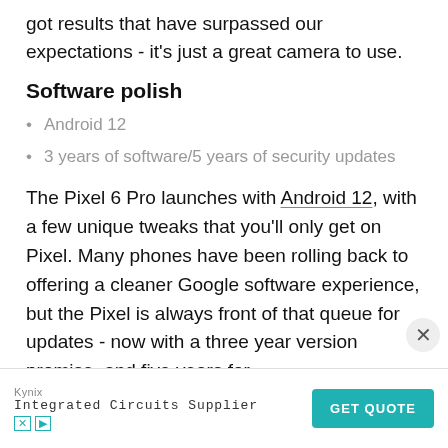got results that have surpassed our expectations - it's just a great camera to use.
Software polish
Android 12
3 years of software/5 years of security updates
The Pixel 6 Pro launches with Android 12, with a few unique tweaks that you'll only get on Pixel. Many phones have been rolling back to offering a cleaner Google software experience, but the Pixel is always front of that queue for updates - now with a three year version promise, and five years for
[Figure (screenshot): Advertisement banner for Kynix Integrated Circuits Supplier with a teal GET QUOTE button]